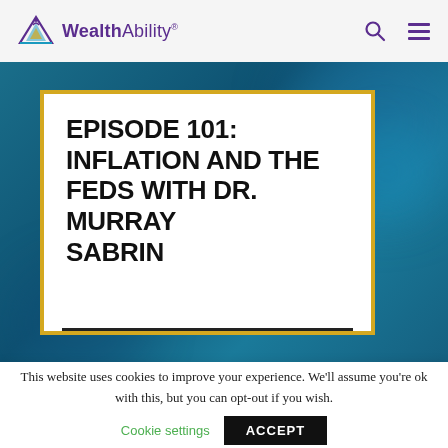WealthAbility
[Figure (screenshot): WealthAbility website header with logo, search icon, and hamburger menu on light grey background]
EPISODE 101: INFLATION AND THE FEDS WITH DR. MURRAY SABRIN
[Figure (screenshot): Teal/dark blue banner background with white card containing episode title, bordered in gold/yellow]
This website uses cookies to improve your experience. We'll assume you're ok with this, but you can opt-out if you wish.
Cookie settings   ACCEPT